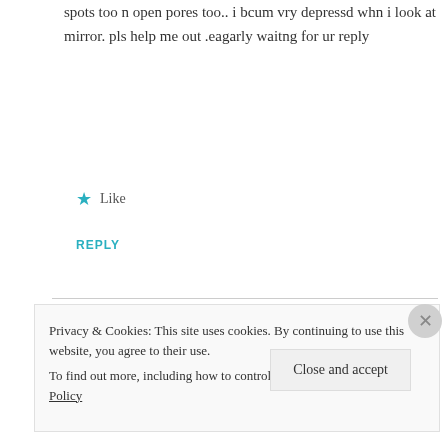spots too n open pores too.. i bcum vry depressd whn i look at mirror. pls help me out .eagarly waitng for ur reply
Like
REPLY
mythoughtlane
MARCH 21, 2017 AT 8:35 AM
Privacy & Cookies: This site uses cookies. By continuing to use this website, you agree to their use. To find out more, including how to control cookies, see here: Cookie Policy
Close and accept